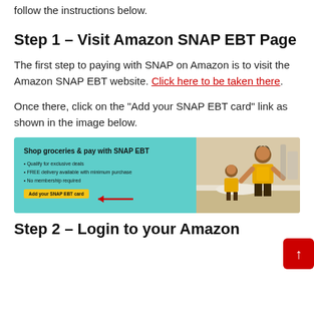follow the instructions below.
Step 1 – Visit Amazon SNAP EBT Page
The first step to paying with SNAP on Amazon is to visit the Amazon SNAP EBT website. Click here to be taken there.
Once there, click on the “Add your SNAP EBT card” link as shown in the image below.
[Figure (screenshot): Screenshot of Amazon SNAP EBT page showing 'Shop groceries & pay with SNAP EBT' with bullet points and an 'Add your SNAP EBT card' button highlighted with a red arrow, alongside an image of a woman and child cooking.]
Step 2 – Login to your Amazon